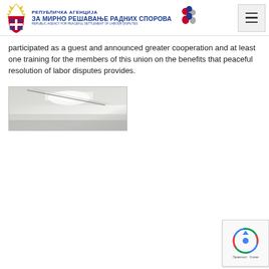РЕПУБЛИЧКА АГЕНЦИЈА ЗА МИРНО РЕШАВАЊЕ РАДНИХ СПОРОВА / REPUBLIC AGENCY FOR PEACEFUL SETTLEMENT OF LABOUR DISPUTES
participated as a guest and announced greater cooperation and at least one training for the members of this union on the benefits that peaceful resolution of labor disputes provides.
[Figure (photo): A blurred/washed out interior photo, likely a conference or meeting room scene with ceiling lights visible.]